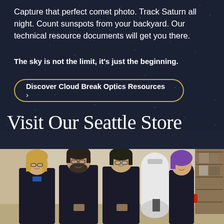Capture that perfect comet photo. Track Saturn all night. Count sunspots from your backyard. Our technical resource documents will get you there.
The sky is not the limit, it's just the beginning.
Discover Cloud Break Optics Resources ›
Visit Our Seattle Store
[Figure (photo): Group photo of four Cloud Break Optics staff members standing in the store with large telescopes visible behind them. Three people have dark hair/glasses and one has a purple head covering. All are wearing dark zip-up jackets. Store interior with shelves and equipment visible in background.]